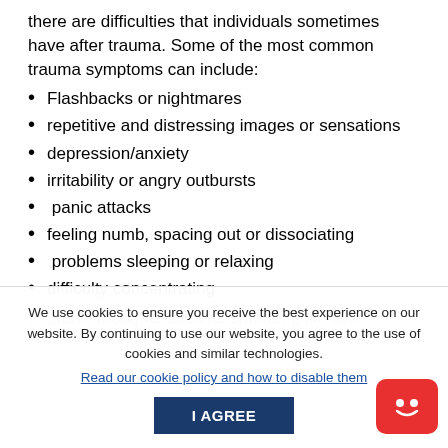there are difficulties that individuals sometimes have after trauma. Some of the most common trauma symptoms can include:
Flashbacks or nightmares
repetitive and distressing images or sensations
depression/anxiety
irritability or angry outbursts
panic attacks
feeling numb, spacing out or dissociating
problems sleeping or relaxing
difficulty concentrating
We use cookies to ensure you receive the best experience on our website. By continuing to use our website, you agree to the use of cookies and similar technologies.
Read our cookie policy and how to disable them
I AGREE